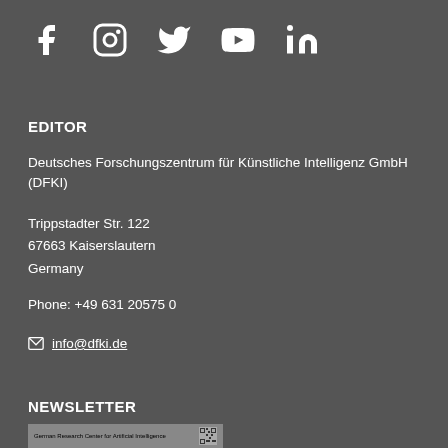[Figure (illustration): Social media icons: Facebook, Instagram, Twitter, YouTube, LinkedIn — white icons on dark grey background]
EDITOR
Deutsches Forschungszentrum für Künstliche Intelligenz GmbH (DFKI)
Trippstadter Str. 122
67663 Kaiserslautern
Germany
Phone: +49 631 20575 0
✉ info@dfki.de
NEWSLETTER
[Figure (screenshot): Newsletter preview image showing German Research Center for Artificial Intelligence text and a QR code]